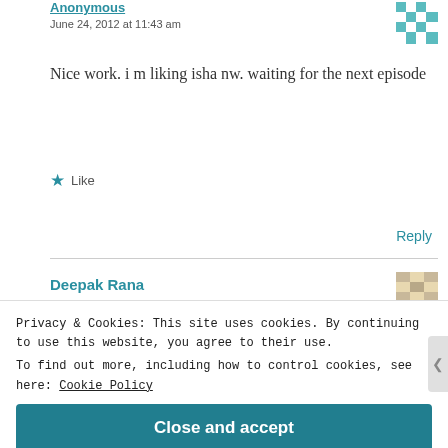Anonymous
June 24, 2012 at 11:43 am
Nice work. i m liking isha nw. waiting for the next episode
Like
Reply
Deepak Rana
Privacy & Cookies: This site uses cookies. By continuing to use this website, you agree to their use.
To find out more, including how to control cookies, see here: Cookie Policy
Close and accept